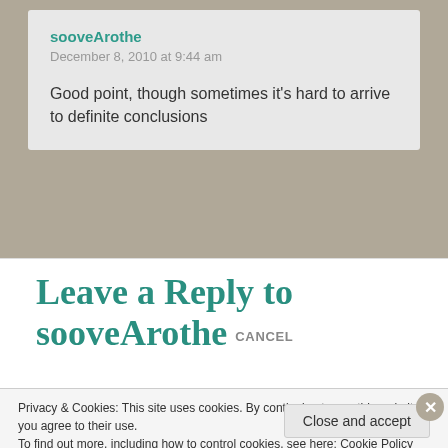sooveArothe
December 8, 2010 at 9:44 am
Good point, though sometimes it's hard to arrive to definite conclusions
Leave a Reply to sooveArothe CANCEL
Privacy & Cookies: This site uses cookies. By continuing to use this website, you agree to their use.
To find out more, including how to control cookies, see here: Cookie Policy
Close and accept